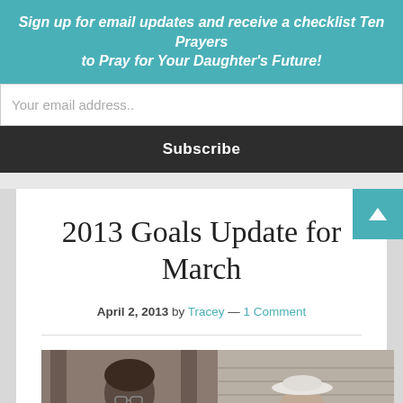Sign up for email updates and receive a checklist Ten Prayers to Pray for Your Daughter's Future!
Your email address..
Subscribe
2013 Goals Update for March
April 2, 2013 by Tracey — 1 Comment
[Figure (photo): Two photos side by side: left shows a girl with glasses and dark hair, right shows a person wearing a white hat near a house exterior]